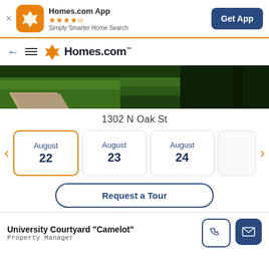Homes.com App — ★★★★½ — Simply Smarter Home Search — Get App
← ≡ Homes.com
[Figure (photo): Lawn and stone pathway photo, green grass and stepping stones]
1302 N Oak St
August 22 (selected), August 23, August 24
Request a Tour
University Courtyard "Camelot" — Property Manager